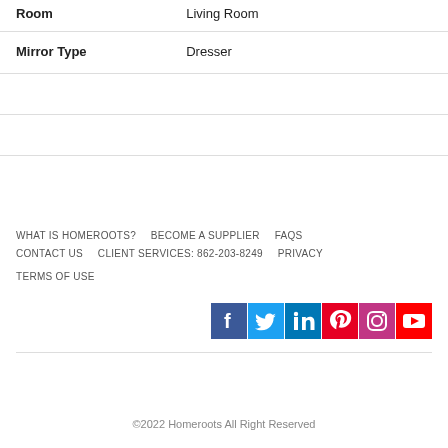| Room | Living Room |
| Mirror Type | Dresser |
WHAT IS HOMEROOTS?  BECOME A SUPPLIER  FAQS  CONTACT US  CLIENT SERVICES: 862-203-8249  PRIVACY  TERMS OF USE
[Figure (other): Social media icons: Facebook, Twitter, LinkedIn, Pinterest, Instagram, YouTube]
©2022 Homeroots All Right Reserved